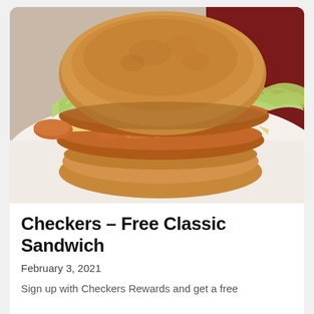[Figure (photo): A fried chicken sandwich with lettuce and cheese slices on a toasted bun, photographed close-up on a white surface with a dark red background.]
Checkers – Free Classic Sandwich
February 3, 2021
Sign up with Checkers Rewards and get a free